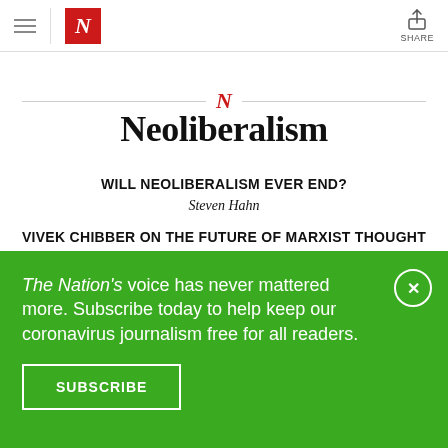The Nation — Navigation bar with hamburger menu, logo N, and Share button
[Figure (logo): The Nation red italic N logo in red square, centered with horizontal rules on either side]
Neoliberalism
WILL NEOLIBERALISM EVER END?
Steven Hahn
VIVEK CHIBBER ON THE FUTURE OF MARXIST THOUGHT
Daniel Steinmetz-Jenkins
The Nation's voice has never mattered more. Subscribe today to help keep our coronavirus journalism free for all readers.